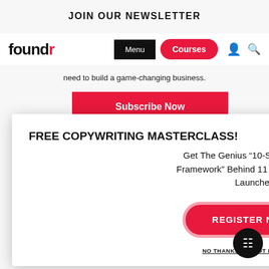JOIN OUR NEWSLETTER
[Figure (logo): foundr logo with red 'r']
need to build a game-changing business.
Subscribe Now
FREE COPYWRITING MASTERCLASS!
Get The Genius “10-Step Copywriting Framework” Behind 11 Different 7-Figure Launches...
REGISTER NOW ❯
NO THANKS, I'M NOT INTERESTED ❯